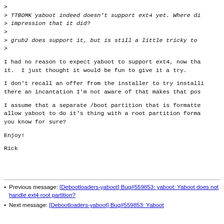>
> TTBOMK yaboot indeed doesn't support ext4 yet. Where di
> impression that it did?
>
> grub2 does support it, but is still a little tricky to
>
I had no reason to expect yaboot to support ext4, now tha
it.  I just thought it would be fun to give it a try.
I don't recall an offer from the installer to try installi
there an incantation I'm not aware of that makes that pos
I assume that a separate /boot partition that is formatte
allow yaboot to do it's thing with a root partition forma
you know for sure?
Enjoy!
Rick
Previous message: [Debootloaders-yaboot] Bug#559853: yaboot: Yaboot does not handle ext4 root partition?
Next message: [Debootloaders-yaboot] Bug#559853: Yaboot does not handle ext4 root partition?